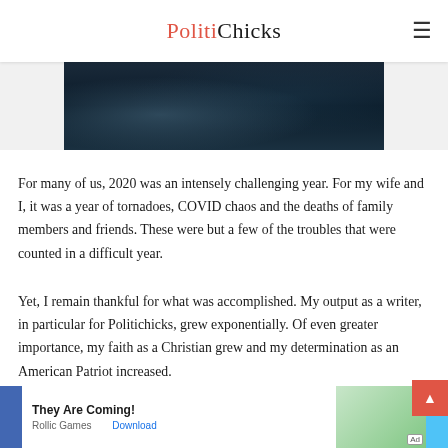PolitiChicks
[Figure (photo): Dark moody image with blue-green tones, appears to show a stormy or turbulent scene]
For many of us, 2020 was an intensely challenging year. For my wife and I, it was a year of tornadoes, COVID chaos and the deaths of family members and friends. These were but a few of the troubles that were counted in a difficult year.
Yet, I remain thankful for what was accomplished. My output as a writer, in particular for Politichicks, grew exponentially. Of even greater importance, my faith as a Christian grew and my determination as an American Patriot increased.
A weak argument was presented to me recently in a
[Figure (screenshot): Advertisement banner: They Are Coming! by Rollic Games with Download button and Ad label]